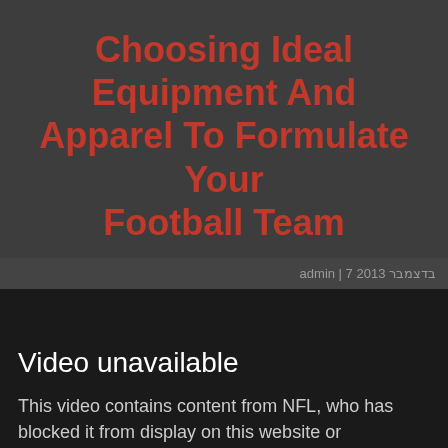Choosing Ideal Equipment And Apparel To Formulate Your Football Team
admin | 7 בדצמבר 2013
[Figure (screenshot): Embedded YouTube video player showing 'Video unavailable' message with text: This video contains content from NFL, who has blocked it from display on this website or application. Watch on YouTube.]